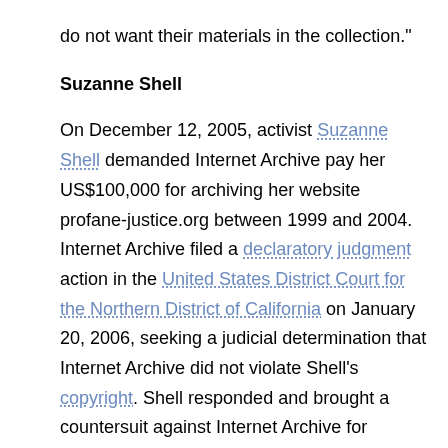do not want their materials in the collection."
Suzanne Shell
On December 12, 2005, activist Suzanne Shell demanded Internet Archive pay her US$100,000 for archiving her website profane-justice.org between 1999 and 2004. Internet Archive filed a declaratory judgment action in the United States District Court for the Northern District of California on January 20, 2006, seeking a judicial determination that Internet Archive did not violate Shell's copyright. Shell responded and brought a countersuit against Internet Archive for archiving her site, which she alleges is in violation of her terms of service. On February 13, 2007, a judge for the United States District Court for the District of Colorado dismissed all counterclaims except